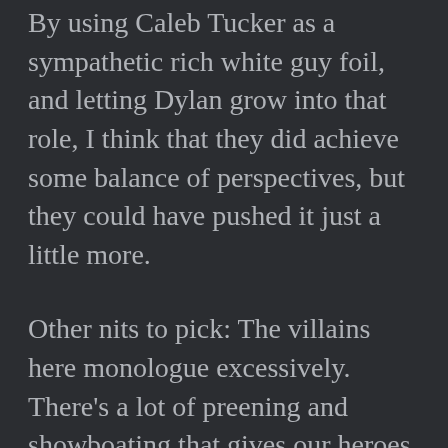By using Caleb Tucker as a sympathetic rich white guy foil, and letting Dylan grow into that role, I think that they did achieve some balance of perspectives, but they could have pushed it just a little more.
Other nits to pick: The villains here monologue excessively. There's a lot of preening and showboating that gives our heroes a chance to wriggle out of tight spots. There are times when the movie feels a little like a first-person-shooting video game too,